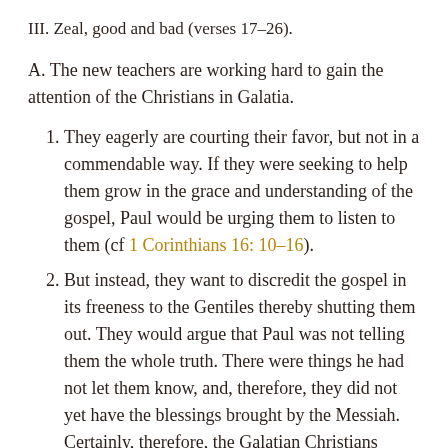III. Zeal, good and bad (verses 17–26).
A. The new teachers are working hard to gain the attention of the Christians in Galatia.
They eagerly are courting their favor, but not in a commendable way. If they were seeking to help them grow in the grace and understanding of the gospel, Paul would be urging them to listen to them (cf 1 Corinthians 16: 10–16).
But instead, they want to discredit the gospel in its freeness to the Gentiles thereby shutting them out. They would argue that Paul was not telling them the whole truth. There were things he had not let them know, and, therefore, they did not yet have the blessings brought by the Messiah. Certainly, therefore, the Galatian Christians would want these teachers to make up